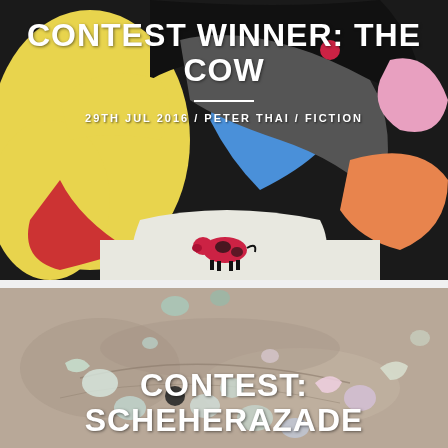[Figure (illustration): Colorful painted artwork showing large abstract figures with bright colors (yellow, red, blue, orange, pink) and a small red cow in the center foreground]
CONTEST WINNER: THE COW
29TH JUL 2016 / PETER THAI / FICTION
[Figure (photo): Photo of sandy/dusty ground with colorful paper confetti pieces scattered around, various pastel colors]
CONTEST: SCHEHERAZADE